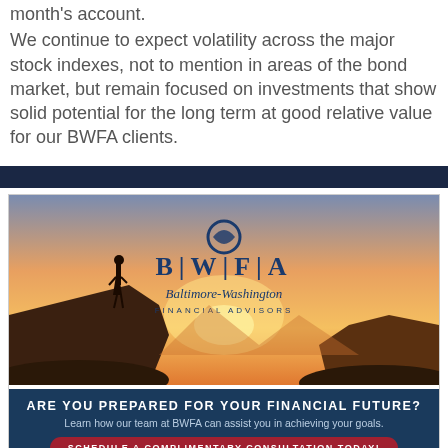month's account. We continue to expect volatility across the major stock indexes, not to mention in areas of the bond market, but remain focused on investments that show solid potential for the long term at good relative value for our BWFA clients.
[Figure (illustration): BWFA (Baltimore-Washington Financial Advisors) advertisement banner featuring a silhouette of a person standing on a rocky cliff at sunset, with the BWFA logo, company name in large letters, and tagline 'Baltimore-Washington Financial Advisors'. Below the image is a dark blue banner reading 'ARE YOU PREPARED FOR YOUR FINANCIAL FUTURE? Learn how our team at BWFA can assist you in achieving your goals.' with a red 'SCHEDULE A COMPLIMENTARY CONSULTATION TODAY!' button.]